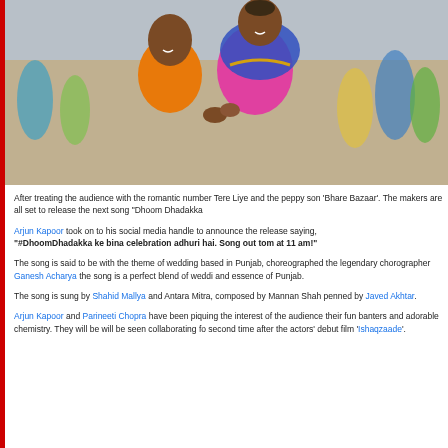[Figure (photo): Two Bollywood actors in colorful traditional Indian attire dancing together — a man in orange kurta and a woman in blue and pink outfit with gold embroidery]
After treating the audience with the romantic number Tere Liye and the peppy song 'Bhare Bazaar'. The makers are all set to release the next song "Dhoom Dhadakka
Arjun Kapoor took on to his social media handle to announce the release saying, "#DhoomDhadakka ke bina celebration adhuri hai. Song out tom at 11 am!"
The song is said to be with the theme of wedding based in Punjab, choreographed by the legendary chorographer Ganesh Acharya the song is a perfect blend of wedding and essence of Punjab.
The song is sung by Shahid Mallya and Antara Mitra, composed by Mannan Shah penned by Javed Akhtar.
Arjun Kapoor and Parineeti Chopra have been piquing the interest of the audience their fun banters and adorable chemistry. They will be will be seen collaborating for second time after the actors' debut film 'Ishaqzaade'.